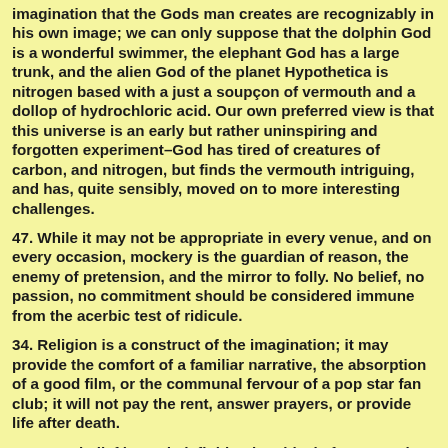imagination that the Gods man creates are recognizably in his own image; we can only suppose that the dolphin God is a wonderful swimmer, the elephant God has a large trunk, and the alien God of the planet Hypothetica is nitrogen based with a just a soupçon of vermouth and a dollop of hydrochloric acid. Our own preferred view is that this universe is an early but rather uninspiring and forgotten experiment–God has tired of creatures of carbon, and nitrogen, but finds the vermouth intriguing, and has, quite sensibly, moved on to more interesting challenges.
47. While it may not be appropriate in every venue, and on every occasion, mockery is the guardian of reason, the enemy of pretension, and the mirror to folly. No belief, no passion, no commitment should be considered immune from the acerbic test of ridicule.
34. Religion is a construct of the imagination; it may provide the comfort of a familiar narrative, the absorption of a good film, or the communal fervour of a pop star fan club; it will not pay the rent, answer prayers, or provide life after death.
28. As to belief in God, definition is critical. If you say that God is the universe, I too, believe in God, for I have sensory experience of the universe. If you say God is an initiating force beyond the universe, I say that is an interesting but rather